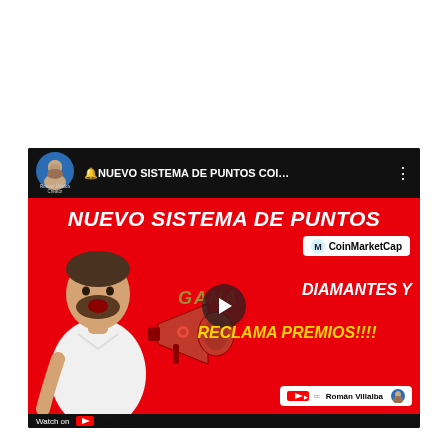[Figure (screenshot): YouTube video thumbnail screenshot showing a red-background promotional image for 'Nuevo Sistema de Puntos CoinMarketCap'. Features a man with a megaphone, text 'NUEVO SISTEMA DE PUNTOS', CoinMarketCap logo badge, text 'DIAMANTES Y RECLAMA PREMIOS!!!!', YouTube badge with 'Roman Villalba', and a 'Watch on YouTube' bar at the bottom.]